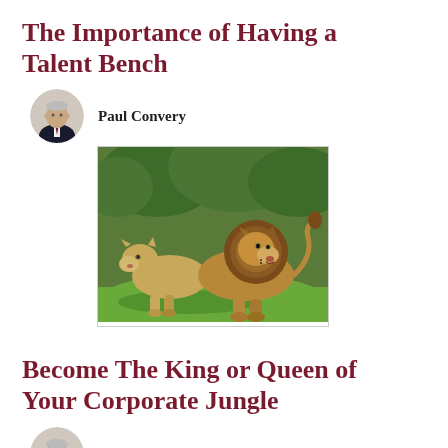The Importance of Having a Talent Bench
Paul Convery
[Figure (photo): Photo of two lions (a lioness and a male lion with a mane) resting on green grass with trees in the background.]
Become The King or Queen of Your Corporate Jungle
Paul Convery